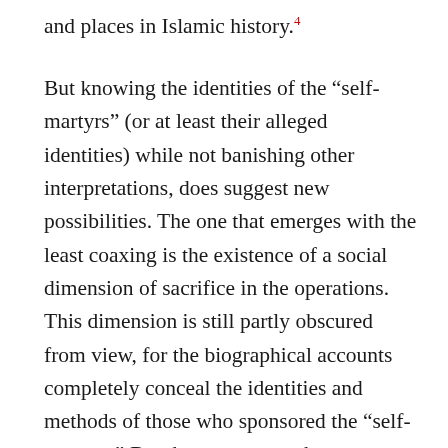and places in Islamic history.4
But knowing the identities of the “self-martyrs” (or at least their alleged identities) while not banishing other interpretations, does suggest new possibilities. The one that emerges with the least coaxing is the existence of a social dimension of sacrifice in the operations. This dimension is still partly obscured from view, for the biographical accounts completely conceal the identities and methods of those who sponsored the “self-martyrs.” But the moment we become acquainted with Ahmad Qasir and Bilal Fahs, we realize that while “self-martyrs” sacrificed themselves, they were also sacrificed by others. They were selected, prepared, and guided toward their “self-martyrdom,” a fact admitted